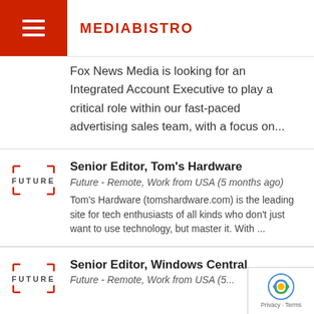MEDIABISTRO
Fox News Media is looking for an Integrated Account Executive to play a critical role within our fast-paced advertising sales team, with a focus on...
Senior Editor, Tom's Hardware
Future - Remote, Work from USA (5 months ago)
Tom's Hardware (tomshardware.com) is the leading site for tech enthusiasts of all kinds who don't just want to use technology, but master it. With ...
Senior Editor, Windows Central
Future - Remote, Work from USA (5...